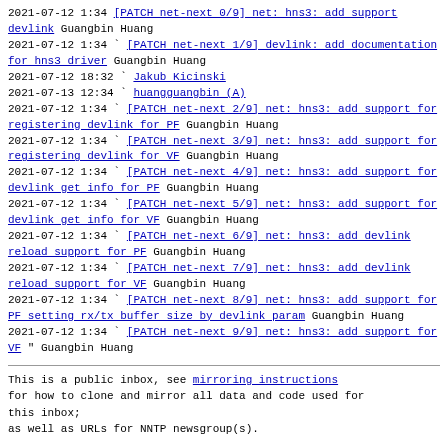2021-07-12  1:34 [PATCH net-next 0/9] net: hns3: add support devlink Guangbin Huang
2021-07-12  1:34 ` [PATCH net-next 1/9] devlink: add documentation for hns3 driver Guangbin Huang
2021-07-12 18:32   ` Jakub Kicinski
2021-07-13 12:34     ` huangguangbin (A)
2021-07-12  1:34 ` [PATCH net-next 2/9] net: hns3: add support for registering devlink for PF Guangbin Huang
2021-07-12  1:34 ` [PATCH net-next 3/9] net: hns3: add support for registering devlink for VF Guangbin Huang
2021-07-12  1:34 ` [PATCH net-next 4/9] net: hns3: add support for devlink get info for PF Guangbin Huang
2021-07-12  1:34 ` [PATCH net-next 5/9] net: hns3: add support for devlink get info for VF Guangbin Huang
2021-07-12  1:34 ` [PATCH net-next 6/9] net: hns3: add devlink reload support for PF Guangbin Huang
2021-07-12  1:34 ` [PATCH net-next 7/9] net: hns3: add devlink reload support for VF Guangbin Huang
2021-07-12  1:34 ` [PATCH net-next 8/9] net: hns3: add support for PF setting rx/tx buffer size by devlink param Guangbin Huang
2021-07-12  1:34 ` [PATCH net-next 9/9] net: hns3: add support for VF " Guangbin Huang
This is a public inbox, see mirroring instructions for how to clone and mirror all data and code used for this inbox; as well as URLs for NNTP newsgroup(s).